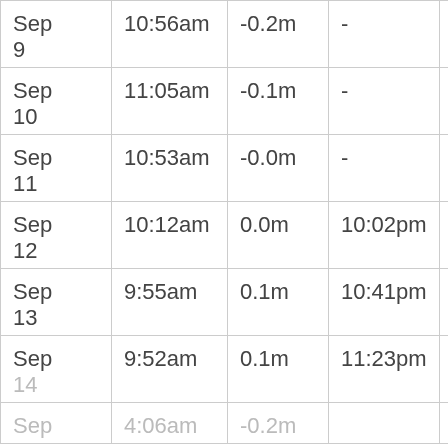| Date | Time | Height | Time | Height |
| --- | --- | --- | --- | --- |
| Sep 9 | 10:56am | -0.2m | - | - |
| Sep 10 | 11:05am | -0.1m | - | - |
| Sep 11 | 10:53am | -0.0m | - | - |
| Sep 12 | 10:12am | 0.0m | 10:02pm | 0.2m |
| Sep 13 | 9:55am | 0.1m | 10:41pm | 0.2m |
| Sep 14 | 9:52am | 0.1m | 11:23pm | 0.1m |
| Sep (faded) | 4:06am (faded) | -0.2m (faded) |  |  |